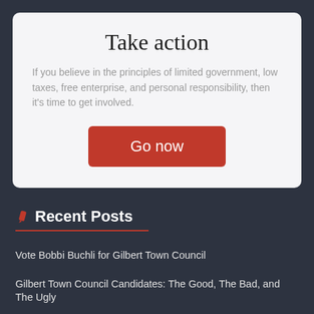Take action
If you believe in the principles of limited government, low taxes, free enterprise, and personal responsibility, then it's time to get involved.
Go now
Recent Posts
Vote Bobbi Buchli for Gilbert Town Council
Gilbert Town Council Candidates: The Good, The Bad, and The Ugly
The Jackboot of Roe v Wade is Lifted